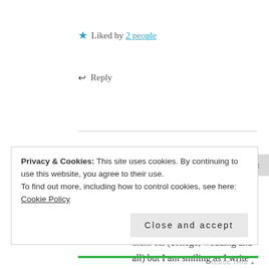★ Liked by 2 people
↩ Reply
AFRIKA BOHEMIAN
November 11, 2015 / 3:26 am
Really love this and it is so amazing that you really did sell them off (college, wedding and all) but I am smiling as I write this thinking about children and love, cannot wait to have
Privacy & Cookies: This site uses cookies. By continuing to use this website, you agree to their use.
To find out more, including how to control cookies, see here: Cookie Policy
Close and accept